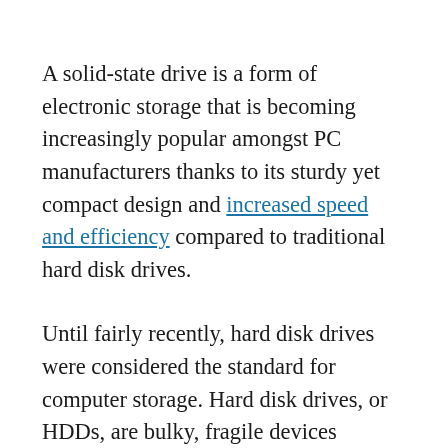A solid-state drive is a form of electronic storage that is becoming increasingly popular amongst PC manufacturers thanks to its sturdy yet compact design and increased speed and efficiency compared to traditional hard disk drives.
Until fairly recently, hard disk drives were considered the standard for computer storage. Hard disk drives, or HDDs, are bulky, fragile devices composed of several layers of magnetic disks.